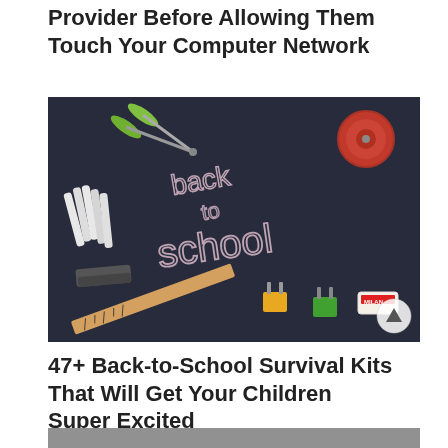Provider Before Allowing Them Touch Your Computer Network
[Figure (photo): A dark chalkboard with 'back to school' written in chalk, surrounded by school supplies: scissors, chalk sticks, a stapler, a ruler, binder clips, a tape measure, and an eraser (Milan brand).]
47+ Back-to-School Survival Kits That Will Get Your Children Super Excited
[Figure (photo): Partial view of a photo at the bottom of the page, showing what appears to be a person.]